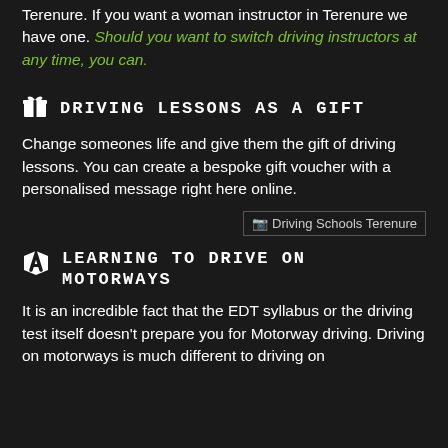Terenure. If you want a woman instructor in Terenure we have one. Should you want to switch driving instructors at any time, you can.
🎁  DRIVING LESSONS AS A GIFT
Change someones life and give them the gift of driving lessons. You can create a bespoke gift voucher with a personalised message right here online.
[Figure (other): Broken image placeholder labeled 'Driving Schools Terenure']
🚗  LEARNING TO DRIVE ON MOTORWAYS
It is an incredible fact that the EDT syllabus or the driving test itself doesn't prepare you for Motorway driving. Driving on motorways is much different to driving on